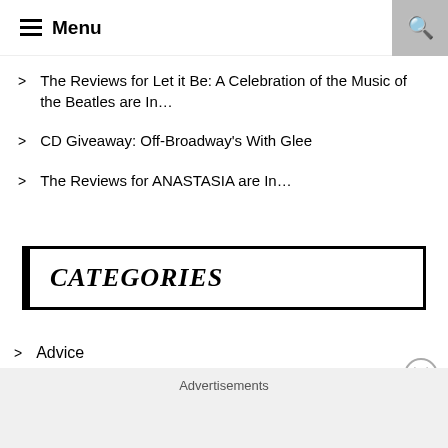Menu
The Reviews for Let it Be: A Celebration of the Music of the Beatles are In…
CD Giveaway: Off-Broadway's With Glee
The Reviews for ANASTASIA are In…
CATEGORIES
Advice
Awards
Advertisements